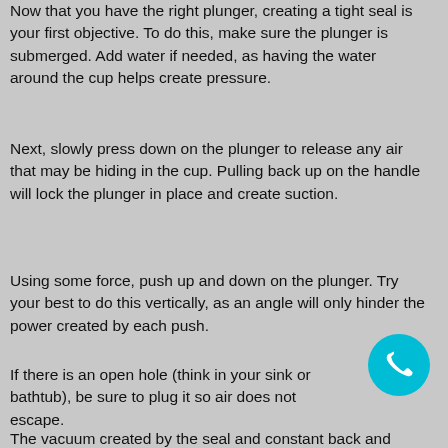Now that you have the right plunger, creating a tight seal is your first objective. To do this, make sure the plunger is submerged. Add water if needed, as having the water around the cup helps create pressure.
Next, slowly press down on the plunger to release any air that may be hiding in the cup. Pulling back up on the handle will lock the plunger in place and create suction.
Using some force, push up and down on the plunger. Try your best to do this vertically, as an angle will only hinder the power created by each push.
If there is an open hole (think in your sink or bathtub), be sure to plug it so air does not escape.
The vacuum created by the seal and constant back and